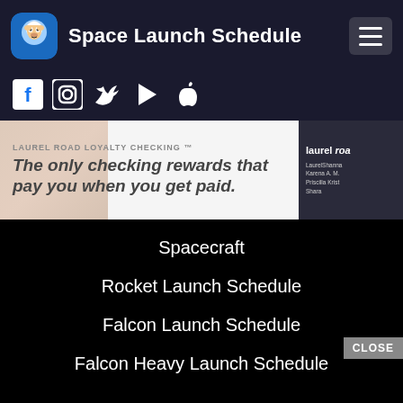Space Launch Schedule
[Figure (screenshot): Social media icons row: Facebook, Instagram, Twitter, Google Play, Apple]
[Figure (screenshot): Advertisement banner: LAUREL ROAD LOYALTY CHECKING. The only checking rewards that pay you when you get paid. laurel road logo on right.]
Spacecraft
Rocket Launch Schedule
Falcon Launch Schedule
Falcon Heavy Launch Schedule
[Figure (screenshot): App store download buttons: Download on the App Store, GET IT ON Google Play. CLOSE button overlaid bottom right.]